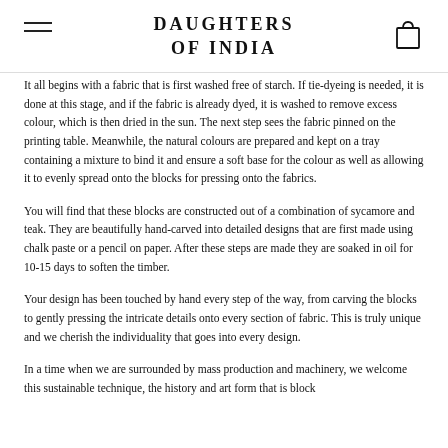DAUGHTERS OF INDIA
It all begins with a fabric that is first washed free of starch. If tie-dyeing is needed, it is done at this stage, and if the fabric is already dyed, it is washed to remove excess colour, which is then dried in the sun. The next step sees the fabric pinned on the printing table. Meanwhile, the natural colours are prepared and kept on a tray containing a mixture to bind it and ensure a soft base for the colour as well as allowing it to evenly spread onto the blocks for pressing onto the fabrics.
You will find that these blocks are constructed out of a combination of sycamore and teak. They are beautifully hand-carved into detailed designs that are first made using chalk paste or a pencil on paper. After these steps are made they are soaked in oil for 10-15 days to soften the timber.
Your design has been touched by hand every step of the way, from carving the blocks to gently pressing the intricate details onto every section of fabric. This is truly unique and we cherish the individuality that goes into every design.
In a time when we are surrounded by mass production and machinery, we welcome this sustainable technique, the history and art form that is block